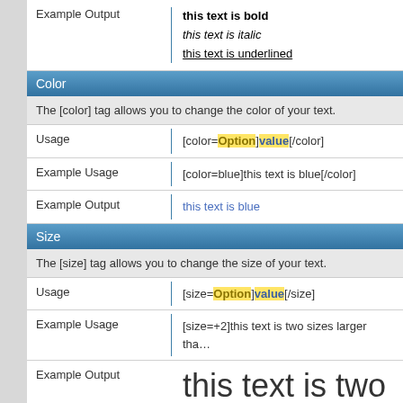|  |  |
| --- | --- |
| Example Output | this text is bold
this text is italic
this text is underlined |
Color
The [color] tag allows you to change the color of your text.
|  |  |
| --- | --- |
| Usage | [color=Option]value[/color] |
| Example Usage | [color=blue]this text is blue[/color] |
| Example Output | this text is blue |
Size
The [size] tag allows you to change the size of your text.
|  |  |
| --- | --- |
| Usage | [size=Option]value[/size] |
| Example Usage | [size=+2]this text is two sizes larger than normal[/size] |
| Example Output | this text is two sizes la… |
Font
The [font] tag allows you to change the font of your text.
|  |  |
| --- | --- |
| Usage | [font=Option]value[/font] |